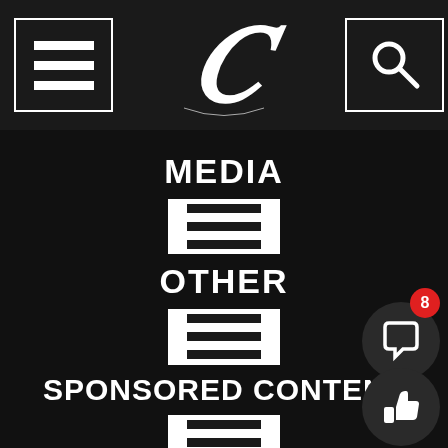Navigation header with hamburger menu, C logo, and search icon
MEDIA
[Figure (other): White square icon with three horizontal lines (article/list icon)]
OTHER
[Figure (other): White square icon with three horizontal lines (article/list icon)]
SPONSORED CONTENT
[Figure (other): White square icon with three horizontal lines (article/list icon)]